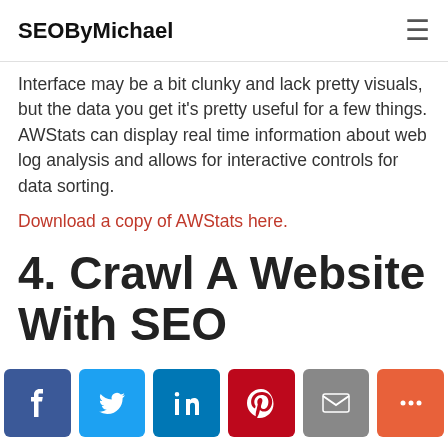SEOByMichael
Interface may be a bit clunky and lack pretty visuals, but the data you get it's pretty useful for a few things. AWStats can display real time information about web log analysis and allows for interactive controls for data sorting. Download a copy of AWStats here.
4. Crawl A Website With SEO Macroscope
Only available on Windows, SEO Macroscope could be a good Windows alternative to pop...